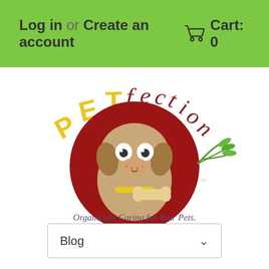Log in or Create an account | Cart: 0
[Figure (logo): PETfection logo: cartoon dog holding a bone inside a red circle, with 'PETfection' text arched above and 'Organically Caring for Your Pets' tagline below]
Blog